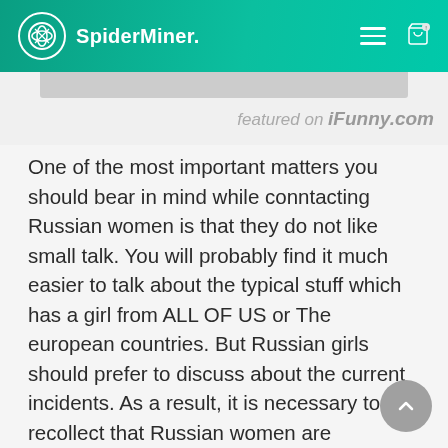SpiderMiner.
featured on iFunny.com
One of the most important matters you should bear in mind while conntacting Russian women is that they do not like small talk. You will probably find it much easier to talk about the typical stuff which has a girl from ALL OF US or The european countries. But Russian girls should prefer to discuss about the current incidents. As a result, it is necessary to recollect that Russian women are extremely private about their inner https://mail-order-bride.com/russian feelings. As a result, do not make an effort to convince those to reveal the secrets. Rather, you should be aware of their culture record.